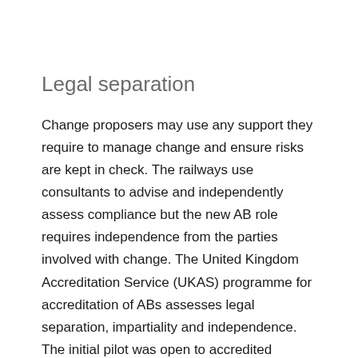Legal separation
Change proposers may use any support they require to manage change and ensure risks are kept in check. The railways use consultants to advise and independently assess compliance but the new AB role requires independence from the parties involved with change. The United Kingdom Accreditation Service (UKAS) programme for accreditation of ABs assesses legal separation, impartiality and independence. The initial pilot was open to accredited railway notified and designated bodies and was then extended to others. The accreditation regime for ABs came into force in May 2015 when the last 2013 ROGS amendments come into force and the ORR maintains a watching brief to ensure accreditation is effective and change management